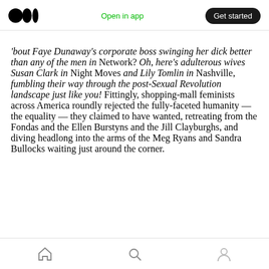Medium logo | Open in app | Get started
'bout Faye Dunaway's corporate boss swinging her dick better than any of the men in Network? Oh, here's adulterous wives Susan Clark in Night Moves and Lily Tomlin in Nashville, fumbling their way through the post-Sexual Revolution landscape just like you! Fittingly, shopping-mall feminists across America roundly rejected the fully-faceted humanity — the equality — they claimed to have wanted, retreating from the Fondas and the Ellen Burstyns and the Jill Clayburghs, and diving headlong into the arms of the Meg Ryans and Sandra Bullocks waiting just around the corner.
Home | Search | Profile